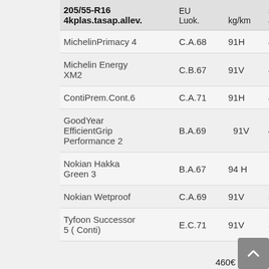| 205/55-R16
4kplas.tasap.allev. | EU
Luok. | kg/km | sarja
as. |
| --- | --- | --- | --- |
| MichelinPrimacy 4 | C.A.68 | 91H | 495€ |
| Michelin Energy XM2 | C.B.67 | 91V | 470€ |
| ContiPrem.Cont.6 | C.A.71 | 91H | 460€ |
| GoodYear EfficientGrip Performance 2 | B.A.69 | 91V | 450€ |
| Nokian Hakka Green 3 | B.A.67 | 94 H | 460€ |
| Nokian Wetproof | C.A.69 | 91V | 395€ |
| Tyfoon Successor 5 ( Conti) | E.C.71 | 91V | 395€ |